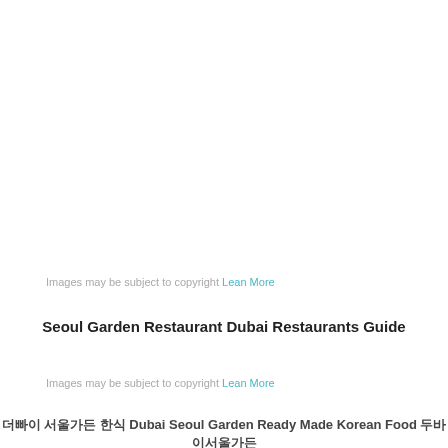Images may be subject to copyright Lean More
Seoul Garden Restaurant Dubai Restaurants Guide
Images may be subject to copyright Lean More
더빠이 서울가든 한식 Dubai Seoul Garden Ready Made Korean Food 두바이서울가든